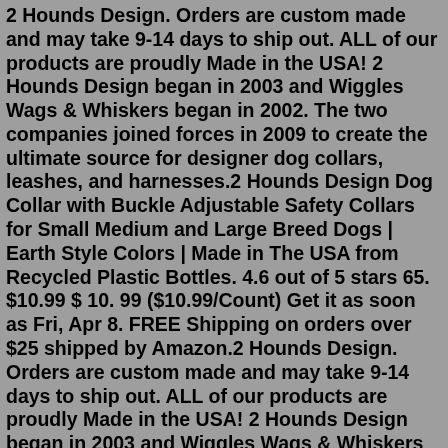2 Hounds Design. Orders are custom made and may take 9-14 days to ship out. ALL of our products are proudly Made in the USA! 2 Hounds Design began in 2003 and Wiggles Wags & Whiskers began in 2002. The two companies joined forces in 2009 to create the ultimate source for designer dog collars, leashes, and harnesses.2 Hounds Design Dog Collar with Buckle Adjustable Safety Collars for Small Medium and Large Breed Dogs | Earth Style Colors | Made in The USA from Recycled Plastic Bottles. 4.6 out of 5 stars 65. $10.99 $ 10. 99 ($10.99/Count) Get it as soon as Fri, Apr 8. FREE Shipping on orders over $25 shipped by Amazon.2 Hounds Design. Orders are custom made and may take 9-14 days to ship out. ALL of our products are proudly Made in the USA! 2 Hounds Design began in 2003 and Wiggles Wags & Whiskers began in 2002. The two companies joined forces in 2009 to create the ultimate source for designer dog collars, leashes, and harnesses. 2 Hounds Design Freedom No Pull Dog Harness | Adjustable Gentle Comfortable Control for Easy Dog Walking |